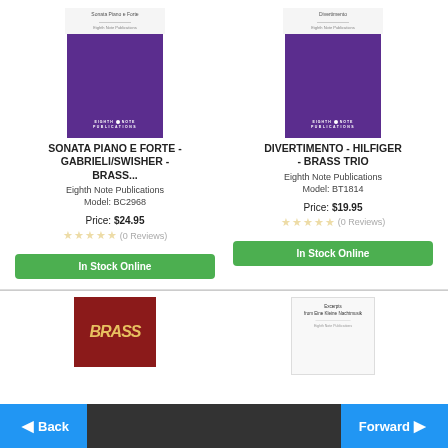[Figure (photo): Book cover for Sonata Piano e Forte - purple Eighth Note Publications cover]
SONATA PIANO E FORTE - GABRIELI/SWISHER - BRASS...
Eighth Note Publications
Model: BC2968
Price: $24.95
(0 Reviews)
In Stock Online
[Figure (photo): Book cover for Divertimento - purple Eighth Note Publications cover]
DIVERTIMENTO - HILFIGER - BRASS TRIO
Eighth Note Publications
Model: BT1814
Price: $19.95
(0 Reviews)
In Stock Online
[Figure (photo): Red book cover with brass text]
[Figure (photo): White book cover for Excerpts from Eine Kleine Nachtmusik]